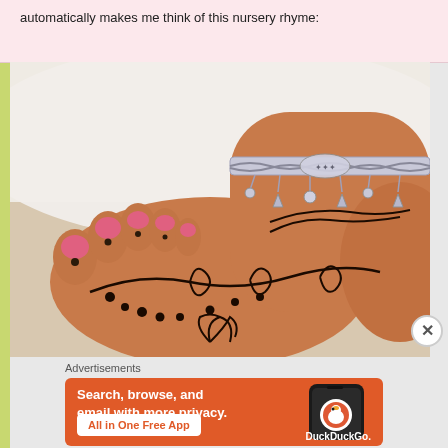automatically makes me think of this nursery rhyme:
[Figure (photo): Close-up photo of a foot and ankle with henna/mehndi tattoo designs on the foot and toes, and a decorative silver anklet/payal jewelry around the ankle.]
Advertisements
[Figure (screenshot): DuckDuckGo advertisement banner with orange background. Text reads 'Search, browse, and email with more privacy. All in One Free App' with a phone showing the DuckDuckGo logo and branding.]